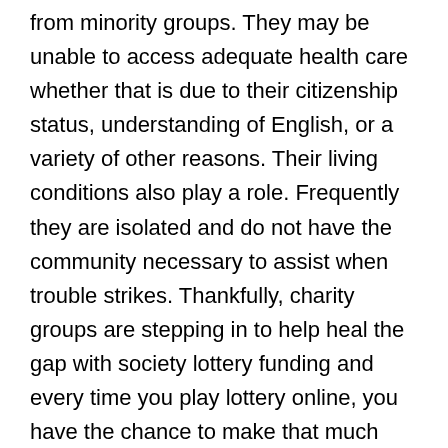from minority groups. They may be unable to access adequate health care whether that is due to their citizenship status, understanding of English, or a variety of other reasons. Their living conditions also play a role. Frequently they are isolated and do not have the community necessary to assist when trouble strikes. Thankfully, charity groups are stepping in to help heal the gap with society lottery funding and every time you play lottery online, you have the chance to make that much more of a difference. Each and every bit can help make a big difference and hopefully help eliminate some of the threats that these communities face.
Helping others out in a time of crisis is what helps build a stronger community, and we are only as strong as our weakest members. Every time you play lottery online, you can help make a difference in the lives of your family, friends and those in the community at large. Now more than ever